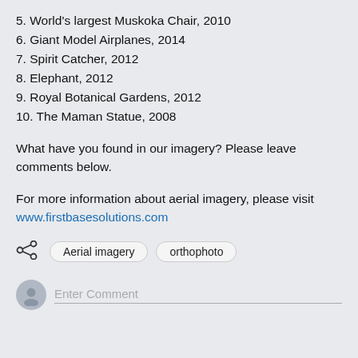5. World's largest Muskoka Chair, 2010
6. Giant Model Airplanes, 2014
7. Spirit Catcher, 2012
8. Elephant, 2012
9. Royal Botanical Gardens, 2012
10. The Maman Statue, 2008
What have you found in our imagery? Please leave comments below.
For more information about aerial imagery, please visit www.firstbasesolutions.com
Aerial imagery  orthophoto
Enter Comment